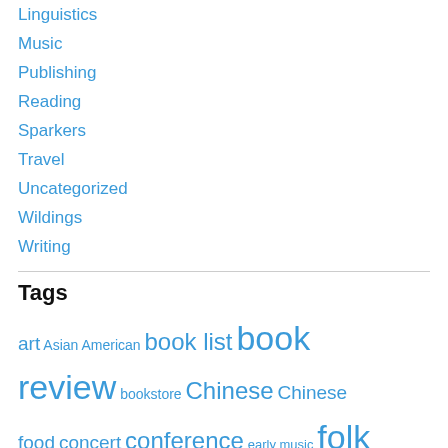Linguistics
Music
Publishing
Reading
Sparkers
Travel
Uncategorized
Wildings
Writing
Tags
art Asian American book list book review bookstore Chinese Chinese food concert conference early music folk music folk songs France French Canadian music gardens Georgian chorus Grinnell hapa interview launch party